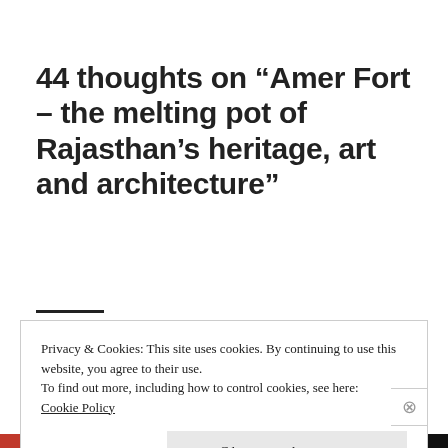44 thoughts on “Amer Fort – the melting pot of Rajasthan’s heritage, art and architecture”
Privacy & Cookies: This site uses cookies. By continuing to use this website, you agree to their use.
To find out more, including how to control cookies, see here:
Cookie Policy
Close and accept